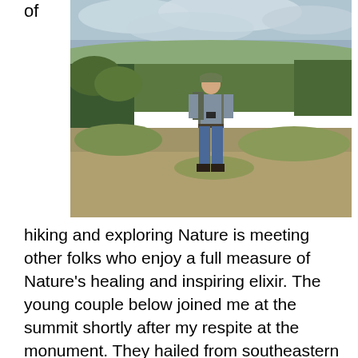of
[Figure (photo): A man wearing a cap, vest, and jeans with a backpack stands on a dirt trail on a hillside. Green shrubs and trees surround him, and a wide valley with distant hills is visible under a cloudy sky.]
hiking and exploring Nature is meeting other folks who enjoy a full measure of Nature's healing and inspiring elixir. The young couple below joined me at the summit shortly after my respite at the monument. They hailed from southeastern Pennsylvania and were celebrating their first wedding anniversary. This